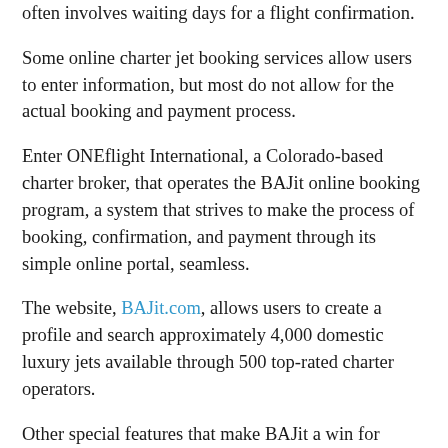often involves waiting days for a flight confirmation.
Some online charter jet booking services allow users to enter information, but most do not allow for the actual booking and payment process.
Enter ONEflight International, a Colorado-based charter broker, that operates the BAJit online booking program, a system that strives to make the process of booking, confirmation, and payment through its simple online portal, seamless.
The website, BAJit.com, allows users to create a profile and search approximately 4,000 domestic luxury jets available through 500 top-rated charter operators.
Other special features that make BAJit a win for private jet flyers: they can enter travel details and browse the available jets, viewing both interior and exterior photos as well as information about amenities such as in-flight wi-fi and pet-